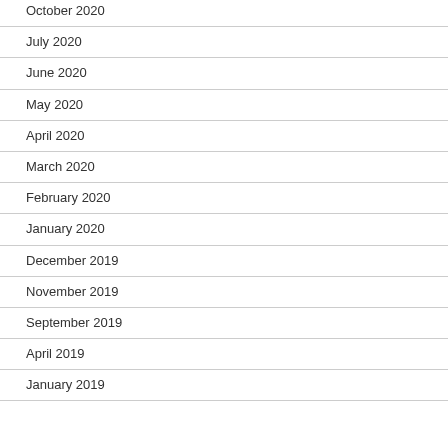October 2020
July 2020
June 2020
May 2020
April 2020
March 2020
February 2020
January 2020
December 2019
November 2019
September 2019
April 2019
January 2019